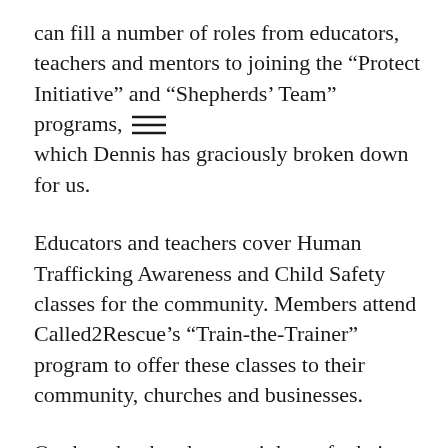can fill a number of roles from educators, teachers and mentors to joining the “Protect Initiative” and “Shepherds’ Team” programs, which Dennis has graciously broken down for us.
Educators and teachers cover Human Trafficking Awareness and Child Safety classes for the community. Members attend Called2Rescue’s “Train-the-Trainer” program to offer these classes to their community, churches and businesses.
On the other hand, you might prefer being a mentor: one member of a dynamic group of women who provide mentoring and life-